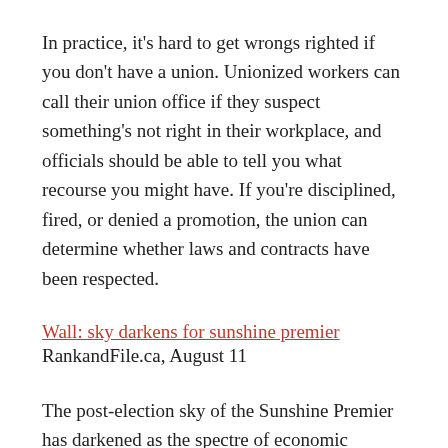In practice, it's hard to get wrongs righted if you don't have a union. Unionized workers can call their union office if they suspect something's not right in their workplace, and officials should be able to tell you what recourse you might have. If you're disciplined, fired, or denied a promotion, the union can determine whether laws and contracts have been respected.
Wall: sky darkens for sunshine premier
RankandFile.ca, August 11
The post-election sky of the Sunshine Premier has darkened as the spectre of economic collapse haunts him. Despite his glorious history making third term (family tradition), the SKMPP that found...